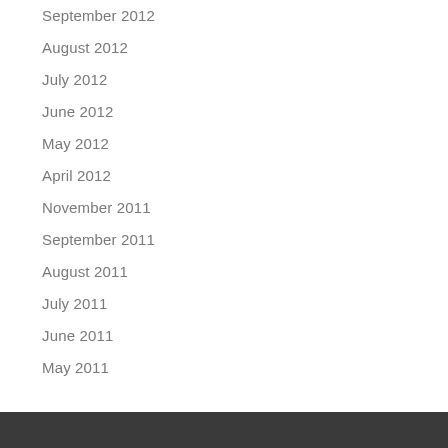September 2012
August 2012
July 2012
June 2012
May 2012
April 2012
November 2011
September 2011
August 2011
July 2011
June 2011
May 2011